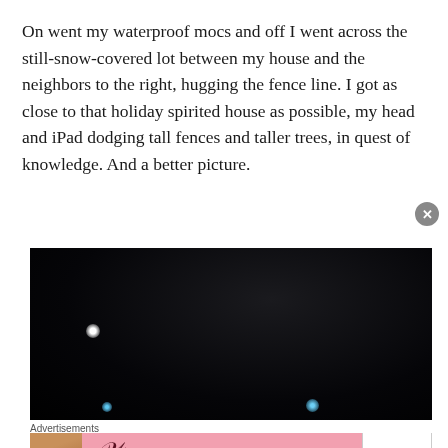On went my waterproof mocs and off I went across the still-snow-covered lot between my house and the neighbors to the right, hugging the fence line. I got as close to that holiday spirited house as possible, my head and iPad dodging tall fences and taller trees, in quest of knowledge. And a better picture.
[Figure (photo): Dark nighttime photo, nearly all black with bokeh lights — a white light orb on the left-center and blue light orbs at the bottom]
Advertisements
[Figure (photo): Victoria's Secret advertisement banner — pink background, model on left, VS logo in center, SHOP THE COLLECTION text, and SHOP NOW button on right]